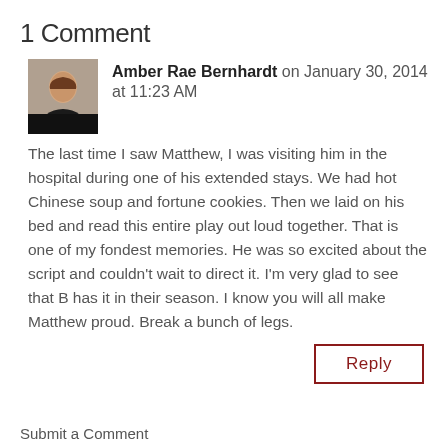1 Comment
[Figure (photo): Headshot of Amber Rae Bernhardt, a woman with long brown hair wearing a black top]
Amber Rae Bernhardt on January 30, 2014 at 11:23 AM
The last time I saw Matthew, I was visiting him in the hospital during one of his extended stays. We had hot Chinese soup and fortune cookies. Then we laid on his bed and read this entire play out loud together. That is one of my fondest memories. He was so excited about the script and couldn't wait to direct it. I'm very glad to see that B has it in their season. I know you will all make Matthew proud. Break a bunch of legs.
Reply
Submit a Comment